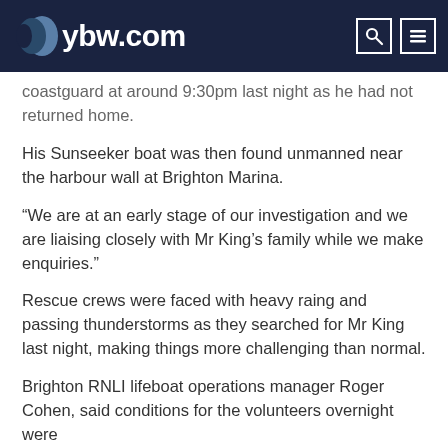ybw.com
coastguard at around 9:30pm last night as he had not returned home.
His Sunseeker boat was then found unmanned near the harbour wall at Brighton Marina.
“We are at an early stage of our investigation and we are liaising closely with Mr King’s family while we make enquiries.”
Rescue crews were faced with heavy raing and passing thunderstorms as they searched for Mr King last night, making things more challenging than normal.
Brighton RNLI lifeboat operations manager Roger Cohen, said conditions for the volunteers overnight were